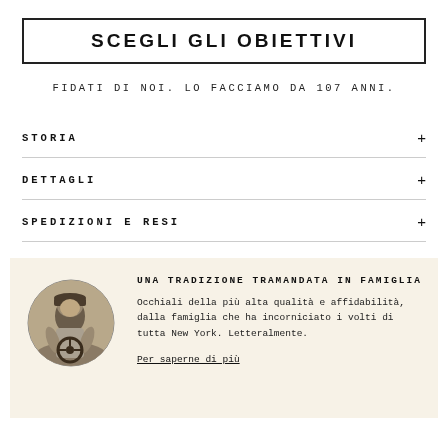SCEGLI GLI OBIETTIVI
FIDATI DI NOI. LO FACCIAMO DA 107 ANNI.
STORIA +
DETTAGLI +
SPEDIZIONI E RESI +
UNA TRADIZIONE TRAMANDATA IN FAMIGLIA
Occhiali della più alta qualità e affidabilità, dalla famiglia che ha incorniciato i volti di tutta New York. Letteralmente.
Per saperne di più